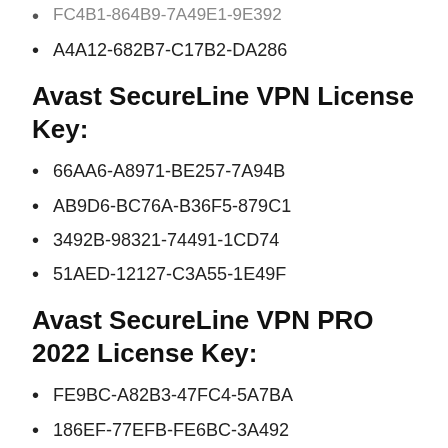FC4B1-864B9-7A49E1-9E392
A4A12-682B7-C17B2-DA286
Avast SecureLine VPN License Key:
66AA6-A8971-BE257-7A94B
AB9D6-BC76A-B36F5-879C1
3492B-98321-74491-1CD74
51AED-12127-C3A55-1E49F
Avast SecureLine VPN PRO 2022 License Key:
FE9BC-A82B3-47FC4-5A7BA
186EF-77EFB-FE6BC-3A492